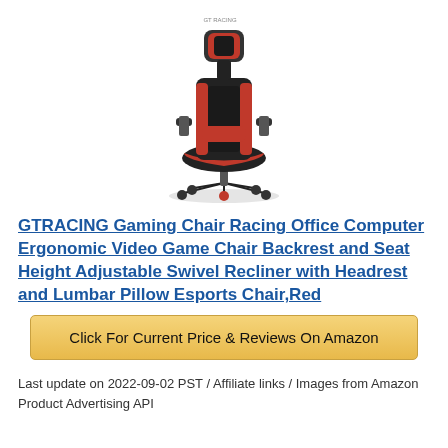[Figure (photo): A red and black GTRACING gaming/racing style office chair with headrest pillow, lumbar pillow, armrests, and five-star wheeled base. Viewed from a front-left angle.]
GTRACING Gaming Chair Racing Office Computer Ergonomic Video Game Chair Backrest and Seat Height Adjustable Swivel Recliner with Headrest and Lumbar Pillow Esports Chair,Red
Click For Current Price & Reviews On Amazon
Last update on 2022-09-02 PST / Affiliate links / Images from Amazon Product Advertising API